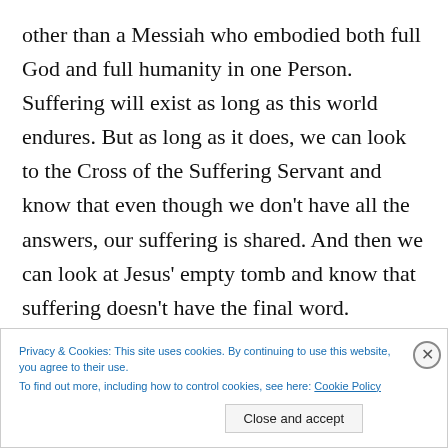other than a Messiah who embodied both full God and full humanity in one Person. Suffering will exist as long as this world endures. But as long as it does, we can look to the Cross of the Suffering Servant and know that even though we don't have all the answers, our suffering is shared. And then we can look at Jesus' empty tomb and know that suffering doesn't have the final word.
Privacy & Cookies: This site uses cookies. By continuing to use this website, you agree to their use. To find out more, including how to control cookies, see here: Cookie Policy